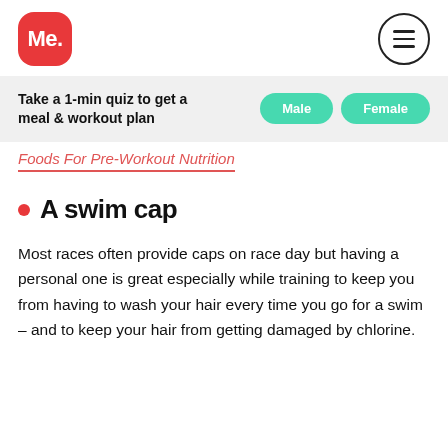[Figure (logo): Red rounded square logo with white text 'Me.']
[Figure (other): Hamburger menu icon inside a circle]
Take a 1-min quiz to get a meal & workout plan
[Figure (other): Green pill button labeled 'Male']
[Figure (other): Green pill button labeled 'Female']
Foods For Pre-Workout Nutrition
A swim cap
Most races often provide caps on race day but having a personal one is great especially while training to keep you from having to wash your hair every time you go for a swim – and to keep your hair from getting damaged by chlorine.